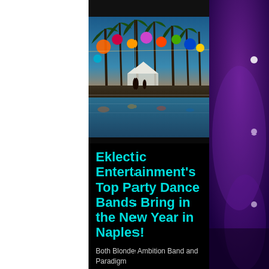[Figure (photo): Tropical beach party scene at sunset with colorful lanterns hanging from palm trees, a pool in the foreground, a white tent in the background, and people gathered for an outdoor event]
Eklectic Entertainment's Top Party Dance Bands Bring in the New Year in Naples!
Both Blonde Ambition Band and Paradigm